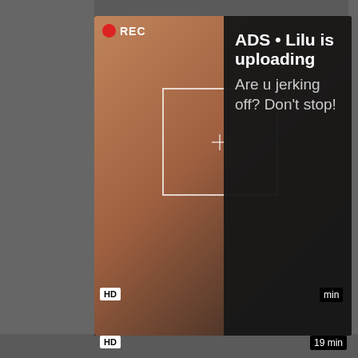[Figure (screenshot): Adult video website screenshot showing two ad overlays over video thumbnails. First ad: REC indicator with red dot, crosshair overlay on thumbnail image, dark panel with bold text 'ADS • Lilu is uploading' and body text 'Are u jerking off? Don't stop!'. Below: video title 'Babe Fucked Anal Anal Cumshot Teen'. Tags: 'anal,' and 'yo...'. Second ad: REC indicator, crosshair overlay, dark panel with bold text 'ADS • Just look what' and body text 'The hottest porn is here 🔥'. HD badge bottom-left, 19 min badge bottom-right.]